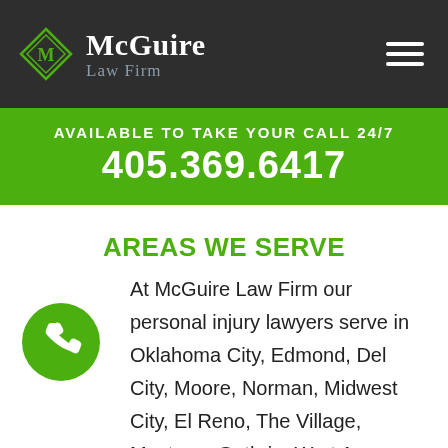[Figure (logo): McGuire Law Firm logo with green diamond shape containing letter M, white text McGuire Law Firm on dark background, hamburger menu icon top right]
AVAILABLE TO TAKE YOUR CALL 24/7
405.369.6417
AREAS WE SERVE
At McGuire Law Firm our personal injury lawyers serve in Oklahoma City, Edmond, Del City, Moore, Norman, Midwest City, El Reno, The Village, Mustang, Guthrie, Wart Acres,